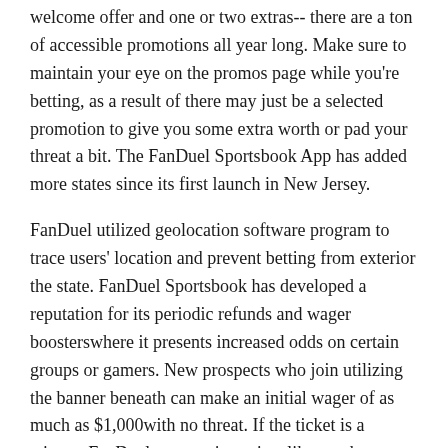welcome offer and one or two extras-- there are a ton of accessible promotions all year long. Make sure to maintain your eye on the promos page while you're betting, as a result of there may just be a selected promotion to give you some extra worth or pad your threat a bit. The FanDuel Sportsbook App has added more states since its first launch in New Jersey.
FanDuel utilized geolocation software program to trace users' location and prevent betting from exterior the state. FanDuel Sportsbook has developed a reputation for its periodic refunds and wager boosterswhere it presents increased odds on certain groups or gamers. New prospects who join utilizing the banner beneath can make an initial wager of as much as $1,000with no threat. If the ticket is a winner, FanDuel can pay it out just like another guess. If it goes the opposite way, although, FanDuel willrefund the wager in credit to the player's account. Smith placed a $20 bet on the St. Louis Cardinals to win the 2021 World Series at +2200, which might be a complete payout of $460.